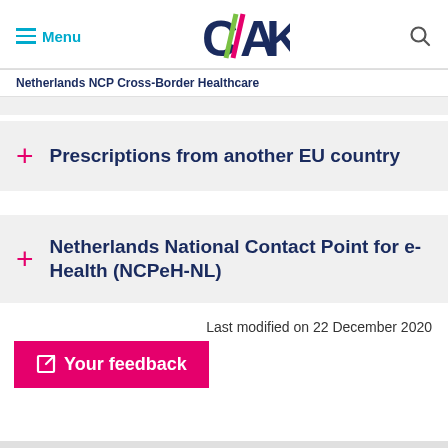[Figure (logo): CAK logo with stylized lightning bolt between C and AK letters in navy and accent colors, with hamburger Menu button on left and search icon on right]
Netherlands NCP Cross-Border Healthcare
Prescriptions from another EU country
Netherlands National Contact Point for e-Health (NCPeH-NL)
Last modified on 22 December 2020
Your feedback